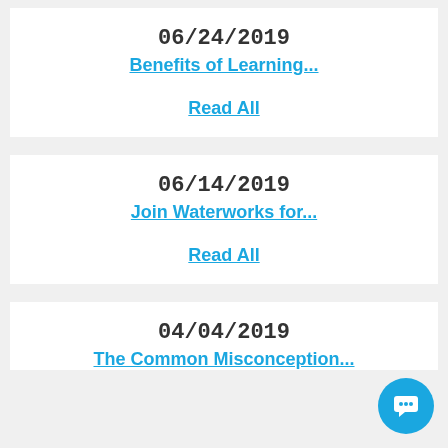06/24/2019
Benefits of Learning...
Read All
06/14/2019
Join Waterworks for...
Read All
04/04/2019
The Common Misconception...